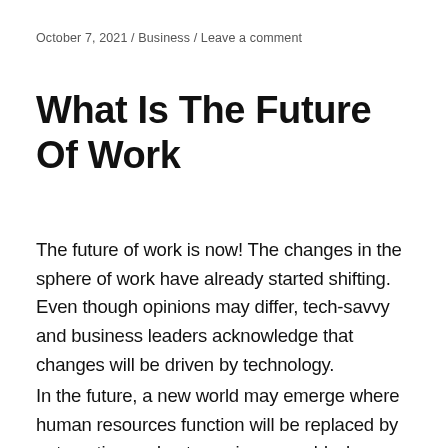October 7, 2021 / Business / Leave a comment
What Is The Future Of Work
The future of work is now! The changes in the sphere of work have already started shifting. Even though opinions may differ, tech-savvy and business leaders acknowledge that changes will be driven by technology.
In the future, a new world may emerge where human resources function will be replaced by automation and outsourcing, a world where